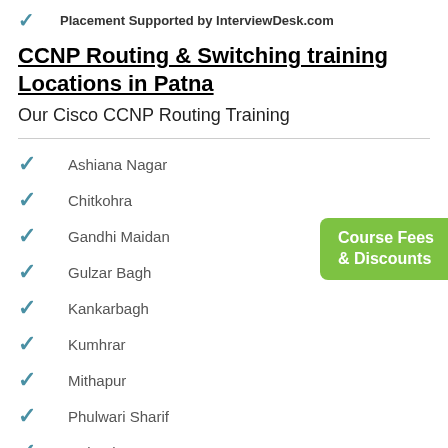Placement Supported by InterviewDesk.com
CCNP Routing & Switching training Locations in Patna
Our Cisco CCNP Routing Training
[Figure (other): Green badge reading 'Course Fees & Discounts']
Ashiana Nagar
Chitkohra
Gandhi Maidan
Gulzar Bagh
Kankarbagh
Kumhrar
Mithapur
Phulwari Sharif
Rajendra nagar
sri krishnapuri